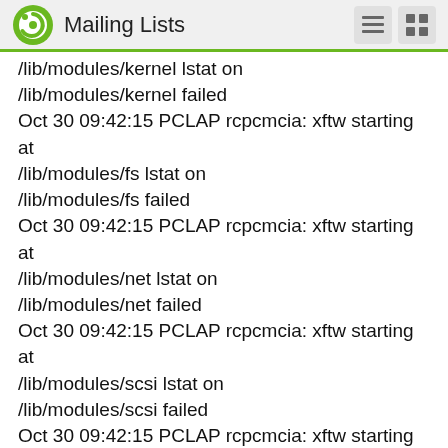Mailing Lists
/lib/modules/kernel lstat on
/lib/modules/kernel failed
Oct 30 09:42:15 PCLAP rcpcmcia: xftw starting at
/lib/modules/fs lstat on
/lib/modules/fs failed
Oct 30 09:42:15 PCLAP rcpcmcia: xftw starting at
/lib/modules/net lstat on
/lib/modules/net failed
Oct 30 09:42:15 PCLAP rcpcmcia: xftw starting at
/lib/modules/scsi lstat on
/lib/modules/scsi failed
Oct 30 09:42:15 PCLAP rcpcmcia: xftw starting at
/lib/modules/block lstat on
/lib/modules/block failed
Oct 30 09:42:15 PCLAP rcpcmcia: xftw starting at
/lib/modules/cdrom lstat on
/lib/modules/cdrom failed